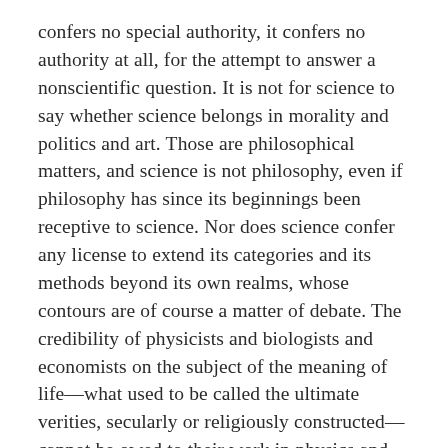confers no special authority, it confers no authority at all, for the attempt to answer a nonscientific question. It is not for science to say whether science belongs in morality and politics and art. Those are philosophical matters, and science is not philosophy, even if philosophy has since its beginnings been receptive to science. Nor does science confer any license to extend its categories and its methods beyond its own realms, whose contours are of course a matter of debate. The credibility of physicists and biologists and economists on the subject of the meaning of life—what used to be called the ultimate verities, secularly or religiously constructed—cannot be owed to their work in physics and biology and economics, however distinguished it is. The extrapolation of larger ideas about life from the procedures and the conclusions of various sciences is quite common, but it is not in itself justified; and its justification cannot be made on internally scientific grounds, at least if the intellectual situation is not to be rigged. Science does come with a worldview, but